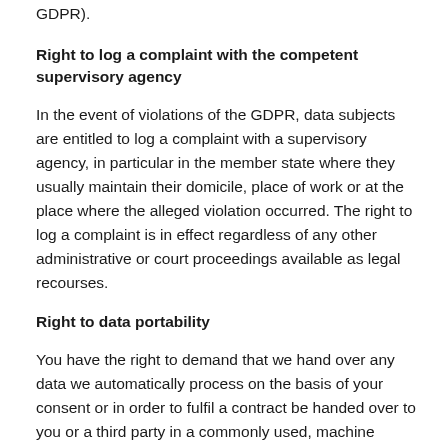GDPR).
Right to log a complaint with the competent supervisory agency
In the event of violations of the GDPR, data subjects are entitled to log a complaint with a supervisory agency, in particular in the member state where they usually maintain their domicile, place of work or at the place where the alleged violation occurred. The right to log a complaint is in effect regardless of any other administrative or court proceedings available as legal recourses.
Right to data portability
You have the right to demand that we hand over any data we automatically process on the basis of your consent or in order to fulfil a contract be handed over to you or a third party in a commonly used, machine readable